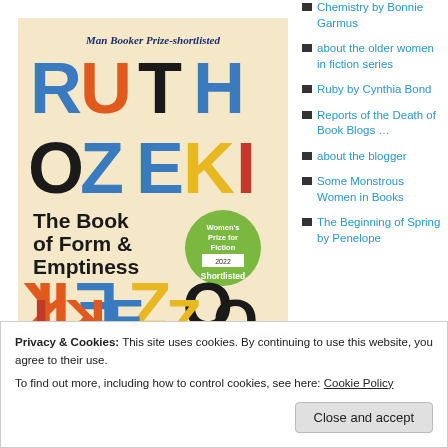[Figure (photo): Book cover of 'The Book of Form & Emptiness' by Ruth Ozeki. Cream/beige background with large colorful letters spelling RUTH OZEKI. Bold black text reads 'The Book of Form & Emptiness'. A green circular badge reads 'Women's Prize for Fiction 2022 Shortlisted'. Text at top reads 'Man Booker Prize-shortlisted'. Bottom half shows mirrored/upside-down letters.]
Chemistry by Bonnie Garmus
about the older women in fiction series
Ruby by Cynthia Bond
Reports of the Death of Book Blogs …
about the blogger
Some Monstrous Women in Books
The Beginning of Spring by Penelope
Privacy & Cookies: This site uses cookies. By continuing to use this website, you agree to their use.
To find out more, including how to control cookies, see here: Cookie Policy
Close and accept